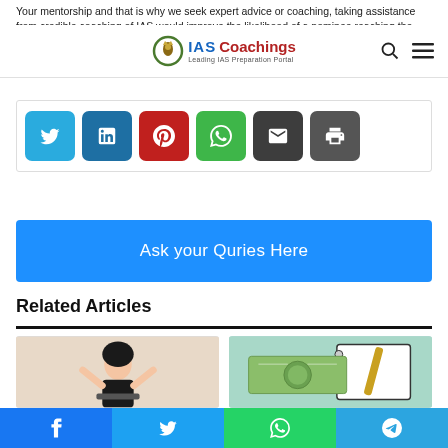Your mentorship and that is why we seek expert advice or coaching, taking assistance from credible coaching of IAS would improve the likelihood of a nominee reaching the IAS in the first attempt.
IAS Coachings – Leading IAS Preparation Portal
[Figure (other): Social share buttons: Twitter (light blue), LinkedIn (dark blue), Pinterest (red), WhatsApp (green), Email (dark gray), Print (gray)]
Ask your Quries Here
Related Articles
[Figure (photo): Left: Young woman with glasses raising hands joyfully in front of laptop, beige background. Right: Indian currency notes with a spiral notebook and pen on teal background.]
Facebook | Twitter | WhatsApp | Telegram